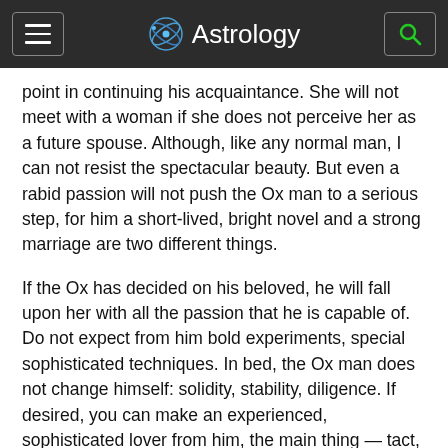Astrology
point in continuing his acquaintance. She will not meet with a woman if she does not perceive her as a future spouse. Although, like any normal man, I can not resist the spectacular beauty. But even a rabid passion will not push the Ox man to a serious step, for him a short-lived, bright novel and a strong marriage are two different things.
If the Ox has decided on his beloved, he will fall upon her with all the passion that he is capable of. Do not expect from him bold experiments, special sophisticated techniques. In bed, the Ox man does not change himself: solidity, stability, diligence. If desired, you can make an experienced, sophisticated lover from him, the main thing — tact, patience. She treats her beloved, tries to match her ideas about an ardent partner. Counts on long-term relationships, so it is considered with the desires of a woman.